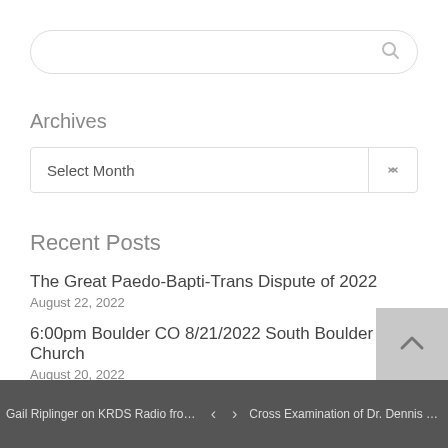Search input box
Archives
Select Month
Recent Posts
The Great Paedo-Bapti-Trans Dispute of 2022
August 22, 2022
6:00pm Boulder CO 8/21/2022 South Boulder Bible Church
August 20, 2022
Gail Riplinger on KRDS Radio from e...Faith < > Cross Examination of Dr. Dennis Po...